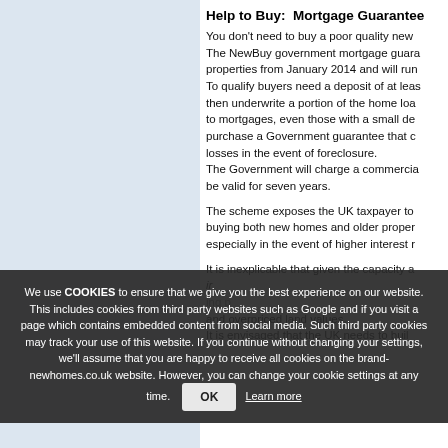Help to Buy:  Mortgage Guarantee
You don't need to buy a poor quality new home... The NewBuy government mortgage guarantee will cover properties from January 2014 and will run... To qualify buyers need a deposit of at least... then underwrite a portion of the home lo... to mortgages, even those with a small de... purchase a Government guarantee that c... losses in the event of foreclosure. The Government will charge a commercia... be valid for seven years.
The scheme exposes the UK taxpayer to... buying both new homes and older proper... especially in the event of higher interest r...
It is inexplicable that given the capacity a... and overpriced land values. It is envisaged that the UK needs to buil...
We use COOKIES to ensure that we give you the best experience on our website. This includes cookies from third party websites such as Google and if you visit a page which contains embedded content from social media. Such third party cookies may track your use of this website. If you continue without changing your settings, we'll assume that you are happy to receive all cookies on the brand-newhomes.co.uk website. However, you can change your cookie settings at any time. Learn more